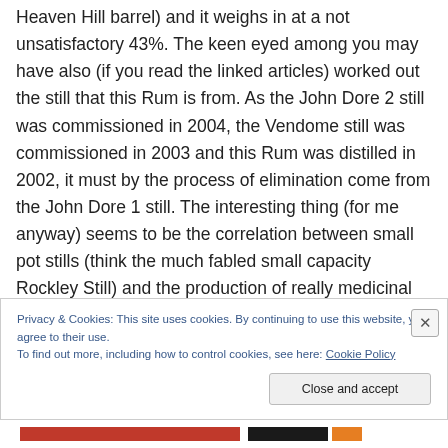Heaven Hill barrel) and it weighs in at a not unsatisfactory 43%. The keen eyed among you may have also (if you read the linked articles) worked out the still that this Rum is from. As the John Dore 2 still was commissioned in 2004, the Vendome still was commissioned in 2003 and this Rum was distilled in 2002, it must by the process of elimination come from the John Dore 1 still. The interesting thing (for me anyway) seems to be the correlation between small pot stills (think the much fabled small capacity Rockley Still) and the production of really medicinal like aromas and flavours. As an obsessive of
Privacy & Cookies: This site uses cookies. By continuing to use this website, you agree to their use.
To find out more, including how to control cookies, see here: Cookie Policy
Close and accept